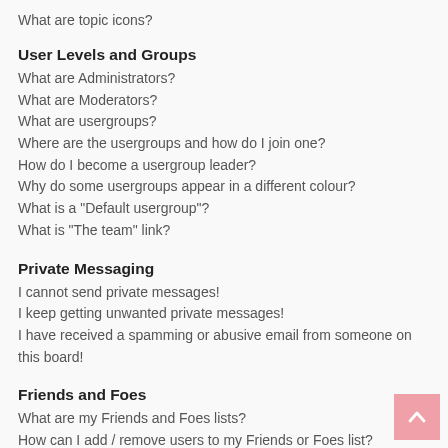What are topic icons?
User Levels and Groups
What are Administrators?
What are Moderators?
What are usergroups?
Where are the usergroups and how do I join one?
How do I become a usergroup leader?
Why do some usergroups appear in a different colour?
What is a "Default usergroup"?
What is "The team" link?
Private Messaging
I cannot send private messages!
I keep getting unwanted private messages!
I have received a spamming or abusive email from someone on this board!
Friends and Foes
What are my Friends and Foes lists?
How can I add / remove users to my Friends or Foes list?